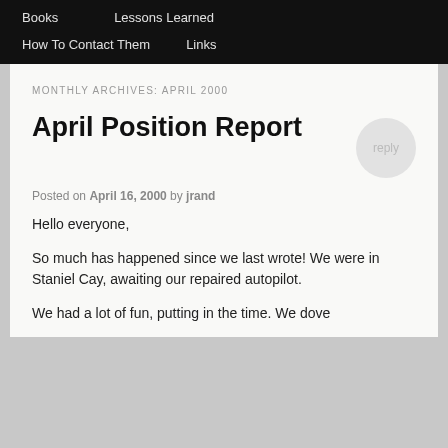Books    Lessons Learned
How To Contact Them    Links
MONTHLY ARCHIVES: APRIL 2000
April Position Report
Posted on April 16, 2000 by jrand
Hello everyone,
So much has happened since we last wrote! We were in Staniel Cay, awaiting our repaired autopilot.
We had a lot of fun, putting in the time. We dove